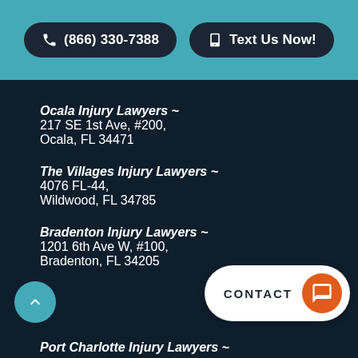(866) 330-7388
Text Us Now!
Ocala Injury Lawyers ~
217 SE 1st Ave, #200,
Ocala, FL 34471
The Villages Injury Lawyers ~
4076 FL-44,
Wildwood, FL 34785
Bradenton Injury Lawyers ~
1201 6th Ave W, #100,
Bradenton, FL 34205
CONTACT
Port Charlotte Injury Lawyers ~